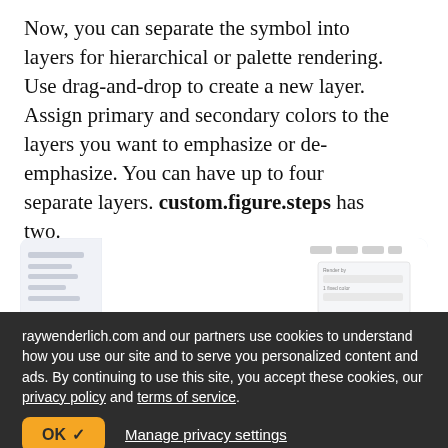Now, you can separate the symbol into layers for hierarchical or palette rendering. Use drag-and-drop to create a new layer. Assign primary and secondary colors to the layers you want to emphasize or de-emphasize. You can have up to four separate layers. custom.figure.steps has two.
[Figure (screenshot): Screenshot of a software UI showing a sidebar panel with list items on the left and a properties/settings panel on the right with fields and a dropdown control, on a light blue-grey background.]
raywenderlich.com and our partners use cookies to understand how you use our site and to serve you personalized content and ads. By continuing to use this site, you accept these cookies, our privacy policy and terms of service.
OK ✓    Manage privacy settings